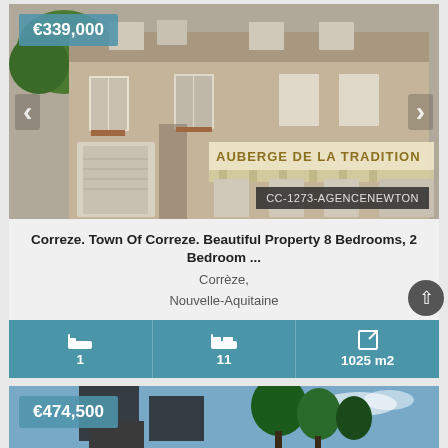[Figure (photo): Stone building/hotel facade - Auberge de la Tradition, with multiple floors, shuttered windows, garage doors, and storefront awning]
€339,000
CC-1273-AGENCENEWTON
Correze. Town Of Correze. Beautiful Property 8 Bedrooms, 2 Bedroom ...
Corrèze,
Nouvelle-Aquitaine
1
11
1025 m2
[Figure (photo): Second property listing showing a dark-roofed house/chalet with trees and blue sky]
€474,500